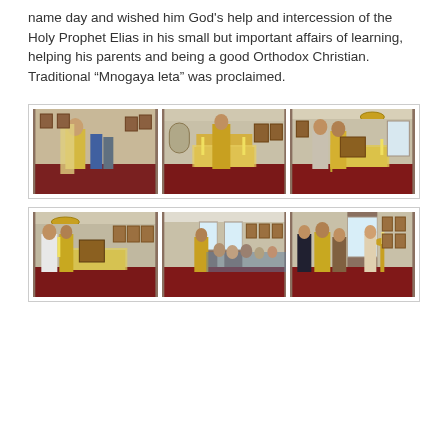name day and wished him God's help and intercession of the Holy Prophet Elias in his small but important affairs of learning, helping his parents and being a good Orthodox Christian. Traditional “Mnogaya leta” was proclaimed.
[Figure (photo): Two rows of three photographs each showing an Orthodox Christian church service/ceremony with clergy in golden vestments and congregation members inside a church with red carpet and iconostasis.]